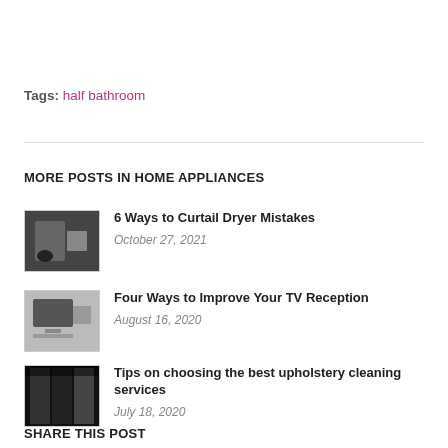Tags: half bathroom
MORE POSTS IN HOME APPLIANCES
6 Ways to Curtail Dryer Mistakes
October 27, 2021
Four Ways to Improve Your TV Reception
August 16, 2020
Tips on choosing the best upholstery cleaning services
July 18, 2020
SHARE THIS POST